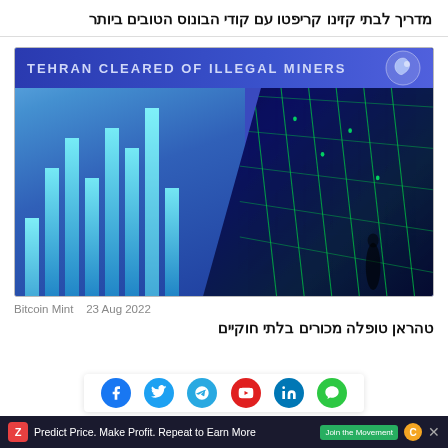מדריך לבתי קזינו קריפטו עם קודי הבונוס הטובים ביותר
[Figure (screenshot): Screenshot of a news article with header 'TEHRAN CLEARED OF ILLEGAL MINERS' showing a crypto trading chart on the left and a Bitcoin mining facility on the right]
Bitcoin Mint   23 Aug 2022
טהראן טופלה מכורים בלתי חוקיים
Predict Price. Make Profit. Repeat to Earn More   Join the Movement   C  ✕